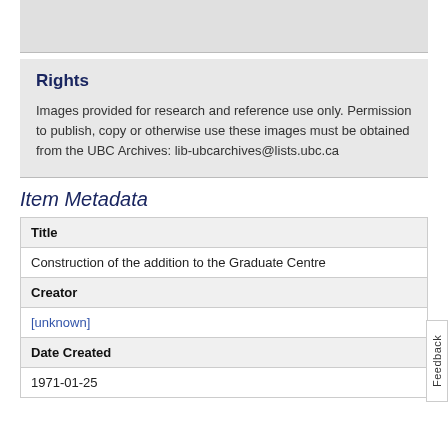Rights
Images provided for research and reference use only. Permission to publish, copy or otherwise use these images must be obtained from the UBC Archives: lib-ubcarchives@lists.ubc.ca
Item Metadata
| Title |  |
|  | Construction of the addition to the Graduate Centre |
| Creator |  |
|  | [unknown] |
| Date Created |  |
|  | 1971-01-25 |